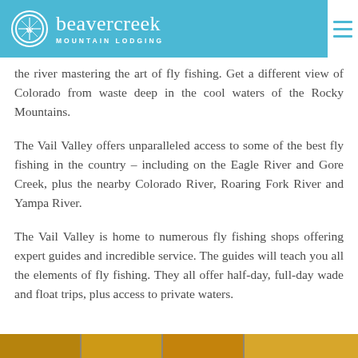beavercreek MOUNTAIN LODGING
the river mastering the art of fly fishing. Get a different view of Colorado from waste deep in the cool waters of the Rocky Mountains.
The Vail Valley offers unparalleled access to some of the best fly fishing in the country – including on the Eagle River and Gore Creek, plus the nearby Colorado River, Roaring Fork River and Yampa River.
The Vail Valley is home to numerous fly fishing shops offering expert guides and incredible service. The guides will teach you all the elements of fly fishing. They all offer half-day, full-day wade and float trips, plus access to private waters.
[Figure (photo): Bottom strip of images, appearing to show outdoor/nature photography in warm golden tones]